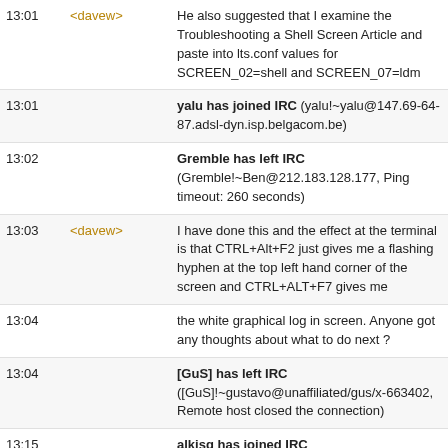13:01 <davew> He also suggested that I examine the Troubleshooting a Shell Screen Article and paste into lts.conf values for SCREEN_02=shell and SCREEN_07=ldm
13:01 yalu has joined IRC (yalu!~yalu@147.69-64-87.adsl-dyn.isp.belgacom.be)
13:02 Gremble has left IRC (Gremble!~Ben@212.183.128.177, Ping timeout: 260 seconds)
13:03 <davew> I have done this and the effect at the terminal is that CTRL+Alt+F2 just gives me a flashing hyphen at the top left hand corner of the screen and CTRL+ALT+F7 gives me
13:04 the white graphical log in screen. Anyone got any thoughts about what to do next ?
13:04 [GuS] has left IRC ([GuS]!~gustavo@unaffiliated/gus/x-663402, Remote host closed the connection)
13:15 alkisg has joined IRC (alkisg!~alkisg@ubuntu/member/alkisg)
13:17 dsugar100 has joined IRC